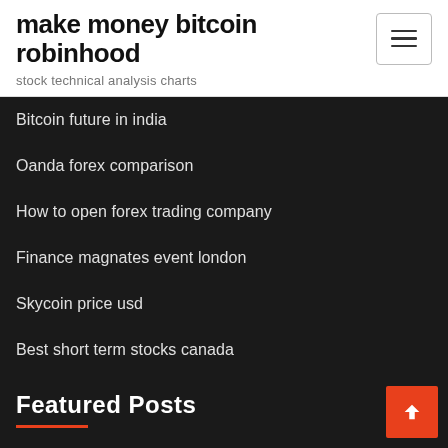make money bitcoin robinhood
stock technical analysis charts
Bitcoin future in india
Oanda forex comparison
How to open forex trading company
Finance magnates event london
Skycoin price usd
Best short term stocks canada
Featured Posts
Ccz stock price today
Litecoin whale wallets